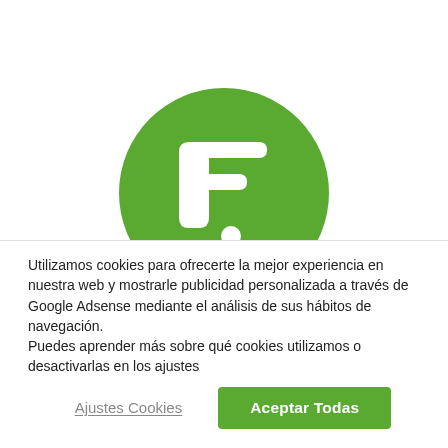[Figure (logo): Green circular logo with a white stylized letter F and a dot, on a white background.]
Utilizamos cookies para ofrecerte la mejor experiencia en nuestra web y mostrarle publicidad personalizada a través de Google Adsense mediante el análisis de sus hábitos de navegación.
Puedes aprender más sobre qué cookies utilizamos o desactivarlas en los ajustes
Ajustes Cookies
Aceptar Todas